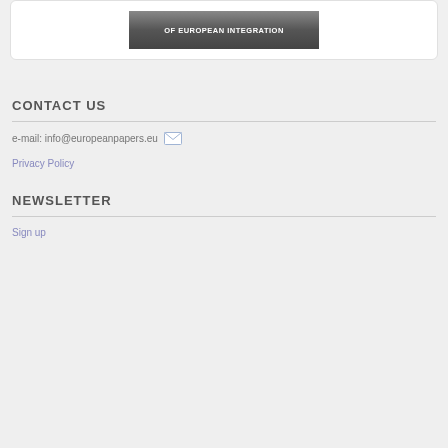[Figure (illustration): Banner/logo image with text 'OF EUROPEAN INTEGRATION' on a dark gradient background]
CONTACT US
e-mail: info@europeanpapers.eu
Privacy Policy
NEWSLETTER
Sign up